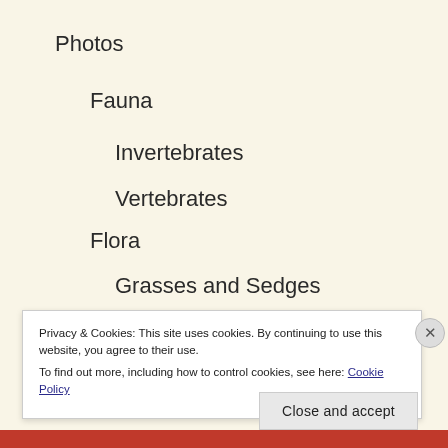Photos
Fauna
Invertebrates
Vertebrates
Flora
Grasses and Sedges
Wild Flowers
Site Images
Privacy & Cookies: This site uses cookies. By continuing to use this website, you agree to their use.
To find out more, including how to control cookies, see here: Cookie Policy
Close and accept